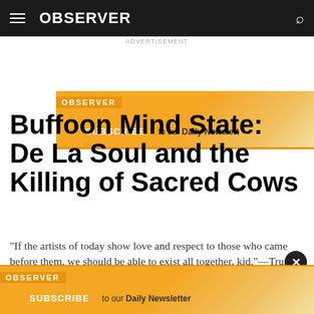OBSERVER
[Figure (other): Observer subscription advertisement banner with orange gradient background reading SUBSCRIBE to our Daily Newsletter]
Buffoon Mind State: De La Soul and the Killing of Sacred Cows
"If the artists of today show love and respect to those who came before them, we should be able to exist all together, kid."—Trugoy
By Ron Hart · 06/06/16 1:10pm
[Figure (other): Observer subscription advertisement banner at bottom with orange gradient background reading SUBSCRIBE to our Daily Newsletter]